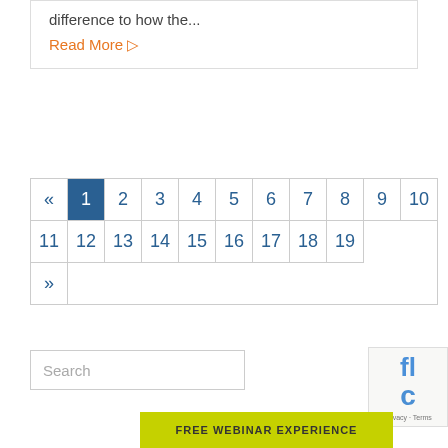difference to how the...
Read More ▷
« 1 2 3 4 5 6 7 8 9 10 11 12 13 14 15 16 17 18 19 »
Search
FREE WEBINAR EXPERIENCE